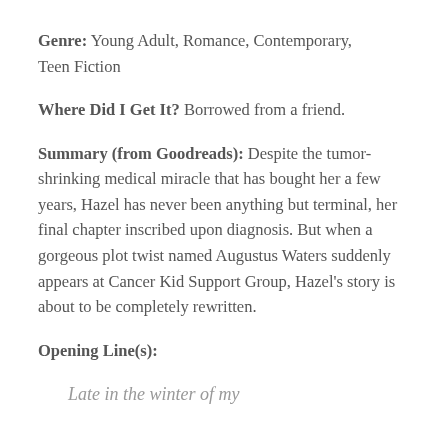Genre: Young Adult, Romance, Contemporary, Teen Fiction
Where Did I Get It? Borrowed from a friend.
Summary (from Goodreads): Despite the tumor-shrinking medical miracle that has bought her a few years, Hazel has never been anything but terminal, her final chapter inscribed upon diagnosis. But when a gorgeous plot twist named Augustus Waters suddenly appears at Cancer Kid Support Group, Hazel's story is about to be completely rewritten.
Opening Line(s):
Late in the winter of my